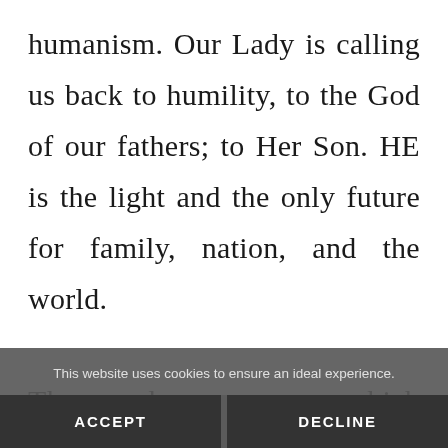humanism. Our Lady is calling us back to humility, to the God of our fathers; to Her Son. HE is the light and the only future for family, nation, and the world.

The day on which Thanksgiving Day
This website uses cookies to ensure an ideal experience.
ACCEPT
DECLINE